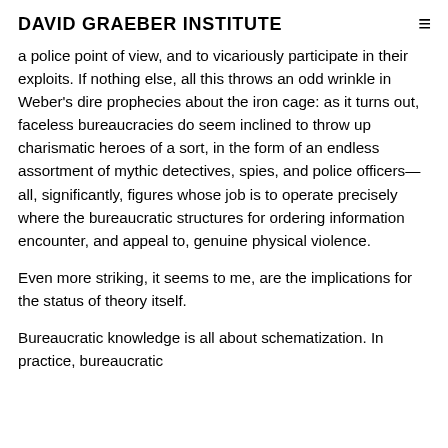DAVID GRAEBER INSTITUTE
a police point of view, and to vicariously participate in their exploits. If nothing else, all this throws an odd wrinkle in Weber's dire prophecies about the iron cage: as it turns out, faceless bureaucracies do seem inclined to throw up charismatic heroes of a sort, in the form of an endless assortment of mythic detectives, spies, and police officers—all, significantly, figures whose job is to operate precisely where the bureaucratic structures for ordering information encounter, and appeal to, genuine physical violence.
Even more striking, it seems to me, are the implications for the status of theory itself.
Bureaucratic knowledge is all about schematization. In practice, bureaucratic